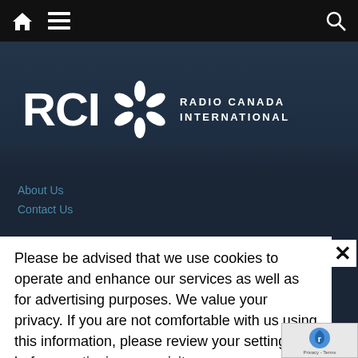Navigation bar with home icon, menu icon, and search icon
[Figure (logo): RCI Radio Canada International logo with CBC gem icon, white text on dark blue background]
About Us
Contact Us
Please be advised that we use cookies to operate and enhance our services as well as for advertising purposes. We value your privacy. If you are not comfortable with us using this information, please review your settings before continuing your visit.
Manage your navigation settings
Find out more
RCI | Follow us | Resources
FRANÇAIS | Facebook | RADIO-CANADA
ESPAÑOL | RCI | Facebook | Conditions d'utilisation
RCI | Twitter | Ombudsman
العربية | CBC